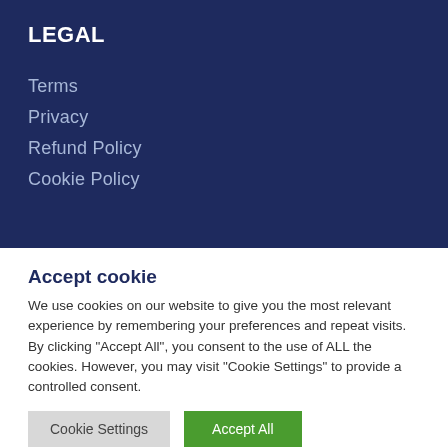LEGAL
Terms
Privacy
Refund Policy
Cookie Policy
Accept cookie
We use cookies on our website to give you the most relevant experience by remembering your preferences and repeat visits. By clicking "Accept All", you consent to the use of ALL the cookies. However, you may visit "Cookie Settings" to provide a controlled consent.
Cookie Settings | Accept All